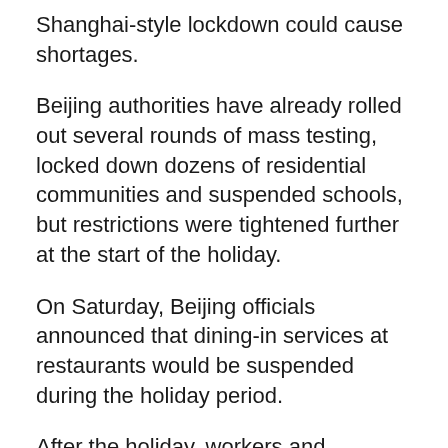Shanghai-style lockdown could cause shortages.
Beijing authorities have already rolled out several rounds of mass testing, locked down dozens of residential communities and suspended schools, but restrictions were tightened further at the start of the holiday.
On Saturday, Beijing officials announced that dining-in services at restaurants would be suspended during the holiday period.
After the holiday, workers and students will be required to present a negative Covid test — taken within the previous 48 hours — to return to work or school. And starting from May 5, residents must provide a negative Covid test — taken within the previous seven days — to enter all public venues, including taking public transport. All residents are required to take a Covid test